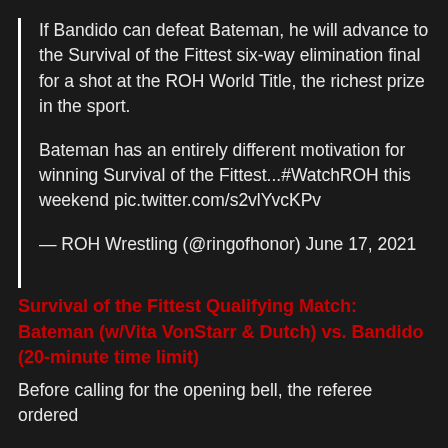If Bandido can defeat Bateman, he will advance to the Survival of the Fittest six-way elimination final for a shot at the ROH World Title, the richest prize in the sport.
Bateman has an entirely different motivation for winning Survival of the Fittest...#WatchROH this weekend pic.twitter.com/s2vlYvcKPv
— ROH Wrestling (@ringofhonor) June 17, 2021
Survival of the Fittest Qualifying Match: Bateman (w/Vita VonStarr & Dutch) vs. Bandido (20-minute time limit)
Before calling for the opening bell, the referee ordered